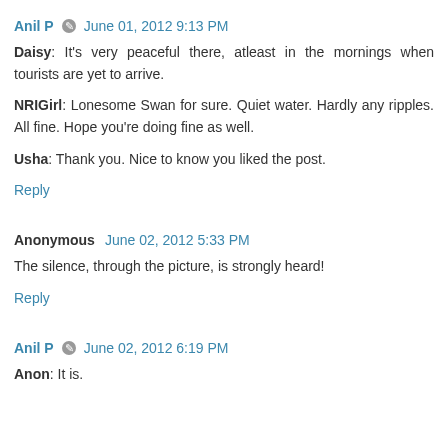Anil P · June 01, 2012 9:13 PM
Daisy: It's very peaceful there, atleast in the mornings when tourists are yet to arrive.

NRIGirl: Lonesome Swan for sure. Quiet water. Hardly any ripples. All fine. Hope you're doing fine as well.

Usha: Thank you. Nice to know you liked the post.
Reply
Anonymous  June 02, 2012 5:33 PM
The silence, through the picture, is strongly heard!
Reply
Anil P · June 02, 2012 6:19 PM
Anon: It is.